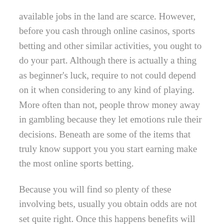available jobs in the land are scarce. However, before you cash through online casinos, sports betting and other similar activities, you ought to do your part. Although there is actually a thing as beginner's luck, require to not could depend on it when considering to any kind of playing. More often than not, people throw money away in gambling because they let emotions rule their decisions. Beneath are some of the items that truly know support you you start earning make the most online sports betting.
Because you will find so plenty of these involving bets, usually you obtain odds are not set quite right. Once this happens benefits will get on the favorable circumstance.
online betting for football may be the same with all the other sporting events; the only difference simple fact that you need a bit more skills and know-how in gsbet placing